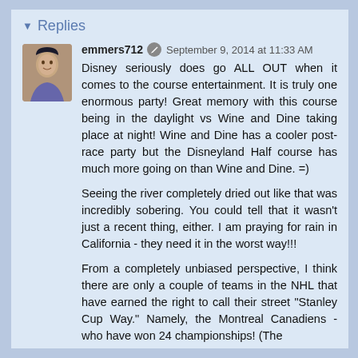Replies
emmers712  September 9, 2014 at 11:33 AM
Disney seriously does go ALL OUT when it comes to the course entertainment. It is truly one enormous party! Great memory with this course being in the daylight vs Wine and Dine taking place at night! Wine and Dine has a cooler post-race party but the Disneyland Half course has much more going on than Wine and Dine. =)

Seeing the river completely dried out like that was incredibly sobering. You could tell that it wasn't just a recent thing, either. I am praying for rain in California - they need it in the worst way!!!

From a completely unbiased perspective, I think there are only a couple of teams in the NHL that have earned the right to call their street "Stanley Cup Way." Namely, the Montreal Canadiens - who have won 24 championships! (The